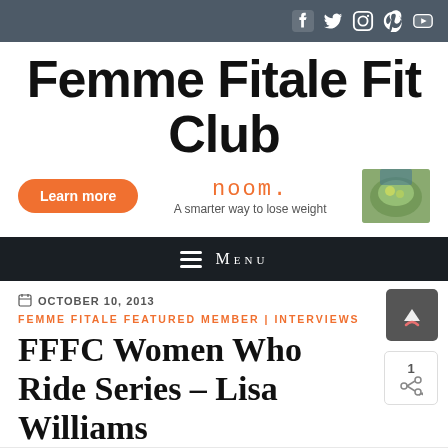Social media icons bar (Facebook, Twitter, Instagram, Pinterest, YouTube)
Femme Fitale Fit Club
[Figure (infographic): Advertisement: Learn more button (orange pill), noom. logo with tagline 'A smarter way to lose weight', and a salad image]
≡ Menu
OCTOBER 10, 2013
FEMME FITALE FEATURED MEMBER | INTERVIEWS
FFFC Women Who Ride Series – Lisa Williams